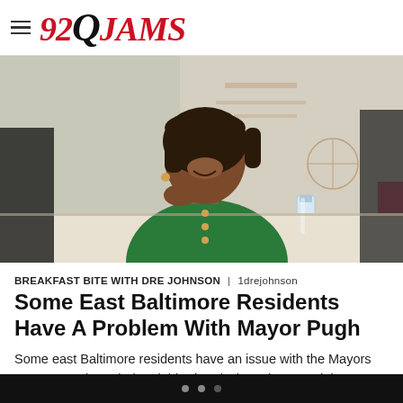92Q JAMS
[Figure (photo): Woman in green top sitting at a table, smiling, with a map visible in the background]
BREAKFAST BITE WITH DRE JOHNSON | 1drejohnson
Some East Baltimore Residents Have A Problem With Mayor Pugh
Some east Baltimore residents have an issue with the Mayors comments about their neighborhood when she toured the area to work on her violence reduction initiative. In a segment that aired on Fox 45 this week, Pugh was heard commenting to another